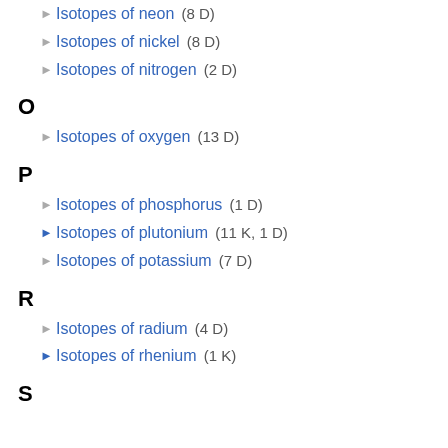Isotopes of neon (8 D)
Isotopes of nickel (8 D)
Isotopes of nitrogen (2 D)
O
Isotopes of oxygen (13 D)
P
Isotopes of phosphorus (1 D)
Isotopes of plutonium (11 K, 1 D)
Isotopes of potassium (7 D)
R
Isotopes of radium (4 D)
Isotopes of rhenium (1 K)
S